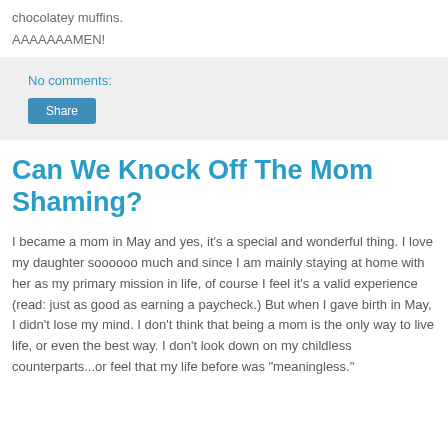chocolatey muffins.
AAAAAAAMEN!
No comments:
Share
Can We Knock Off The Mom Shaming?
I became a mom in May and yes, it's a special and wonderful thing. I love my daughter soooooo much and since I am mainly staying at home with her as my primary mission in life, of course I feel it's a valid experience (read: just as good as earning a paycheck.) But when I gave birth in May, I didn't lose my mind. I don't think that being a mom is the only way to live life, or even the best way. I don't look down on my childless counterparts...or feel that my life before was "meaningless."